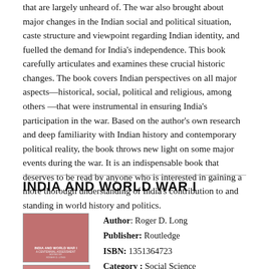that are largely unheard of. The war also brought about major changes in the Indian social and political situation, caste structure and viewpoint regarding Indian identity, and fuelled the demand for India's independence. This book carefully articulates and examines these crucial historic changes. The book covers Indian perspectives on all major aspects—historical, social, political and religious, among others—that were instrumental in ensuring India's participation in the war. Based on the author's own research and deep familiarity with Indian history and contemporary political reality, the book throws new light on some major events during the war. It is an indispensable book that deserves to be read by anyone who is interested in gaining a more thorough understanding of India's contribution to and standing in world history and politics.
INDIA AND WORLD WAR I
[Figure (photo): Book cover image for 'India and World War I' showing a reddish-pink decorative pattern, with title text and subtitle below]
Author: Roger D. Long
Publisher: Routledge
ISBN: 1351364723
Category : Social Science